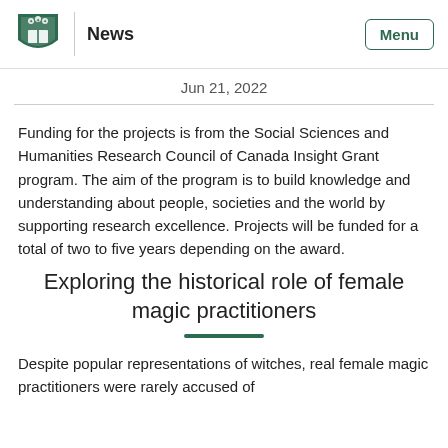News
Jun 21, 2022
Funding for the projects is from the Social Sciences and Humanities Research Council of Canada Insight Grant program. The aim of the program is to build knowledge and understanding about people, societies and the world by supporting research excellence. Projects will be funded for a total of two to five years depending on the award.
Exploring the historical role of female magic practitioners
Despite popular representations of witches, real female magic practitioners were rarely accused of